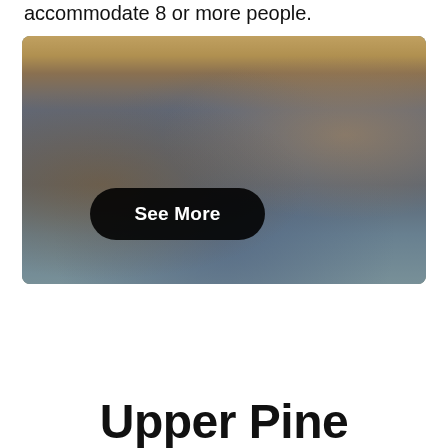accommodate 8 or more people.
[Figure (photo): Interior photo of a cabin living room with blue carpet, wooden walls, dark upholstered armchair and sofa, wooden coffee table, white refrigerator, wooden kitchen cabinets, windows with curtains, and a green door. A 'See More' button overlay appears in the lower left of the image.]
Upper Pine